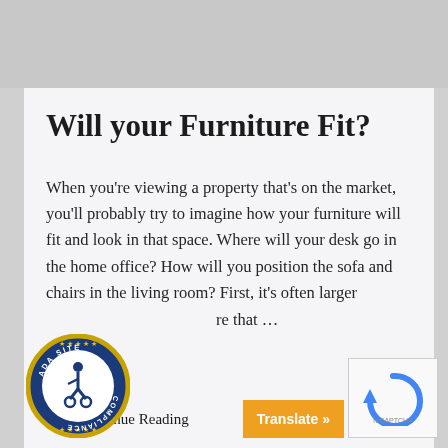Will your Furniture Fit?
When you're viewing a property that's on the market, you'll probably try to imagine how your furniture will fit and look in that space. Where will your desk go in the home office? How will you position the sofa and chairs in the living room? First, it's often larger [re that …
Continue Reading
[Figure (logo): ADA Site Compliance badge — circular blue and gold logo with wheelchair accessibility icon and text 'ADA SITE COMPLIANCE']
[Figure (other): reCAPTCHA widget with blue circular arrow icon]
[Figure (other): Orange Translate button with text 'Translate »']